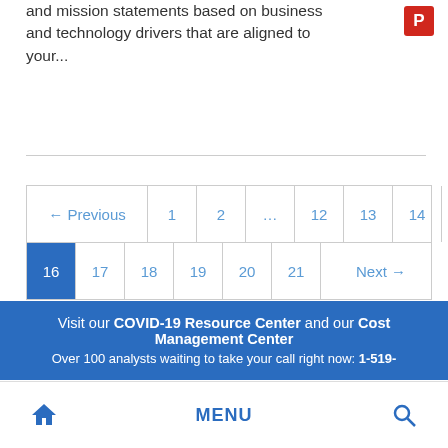and mission statements based on business and technology drivers that are aligned to your...
[Figure (screenshot): Pagination control showing Previous, page numbers 1, 2, ..., 12, 13, 14, 15 on row 1, and 16 (active/highlighted), 17, 18, 19, 20, 21, Next on row 2]
Visit our COVID-19 Resource Center and our Cost Management Center
Over 100 analysts waiting to take your call right now: 1-519-
Home  MENU  Search